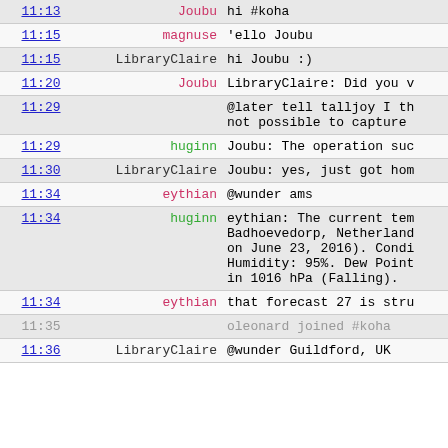| time | nick | message |
| --- | --- | --- |
| 11:13 | Joubu | hi #koha |
| 11:15 | magnuse | 'ello Joubu |
| 11:15 | LibraryClaire | hi Joubu :) |
| 11:20 | Joubu | LibraryClaire: Did you v |
| 11:29 |  | @later tell talljoy I th not possible to capture |
| 11:29 | huginn | Joubu: The operation suc |
| 11:30 | LibraryClaire | Joubu: yes, just got hom |
| 11:34 | eythian | @wunder ams |
| 11:34 | huginn | eythian: The current tem Badhoevedorp, Netherland on June 23, 2016). Condi Humidity: 95%. Dew Point in 1016 hPa (Falling). |
| 11:34 | eythian | that forecast 27 is stru |
| 11:35 |  | oleonard joined #koha |
| 11:36 | LibraryClaire | @wunder Guildford, UK |